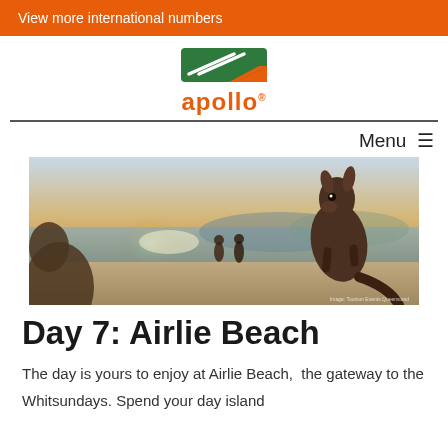View more international numbers
[Figure (logo): Apollo camper logo with green and orange swoosh icon above the word 'apollo' in orange bold text]
Menu ≡
[Figure (photo): Kangaroos on a beach at sunset/golden hour with two people walking in the background near the water. Photo credit: Tourism/Travel Events Queensland]
Day 7: Airlie Beach
The day is yours to enjoy at Airlie Beach,  the gateway to the Whitsundays. Spend your day island